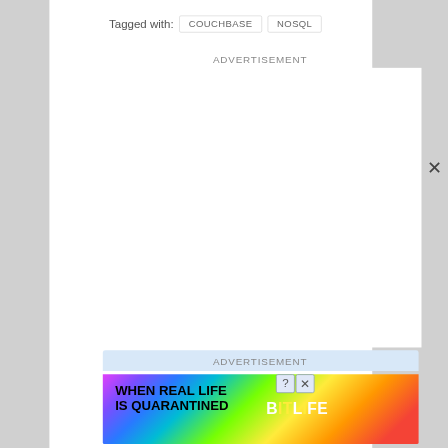Tagged with: COUCHBASE NOSQL
ADVERTISEMENT
ADVERTISEMENT
[Figure (illustration): BitLife mobile game advertisement banner with rainbow gradient background. Text reads: WHEN REAL LIFE IS QUARANTINED, BitLife logo with emoji mascot character.]